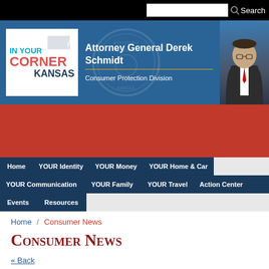Search
[Figure (screenshot): In Your Corner Kansas banner with Attorney General Derek Schmidt and Consumer Protection Division text]
Home | YOUR Identity | YOUR Money | YOUR Home & Car | YOUR Communication | YOUR Family | YOUR Travel | Action Center | Events | Resources
Home / Consumer News
Consumer News
« Back
AG Derek Schmidt: Johnson County man temporarily banned